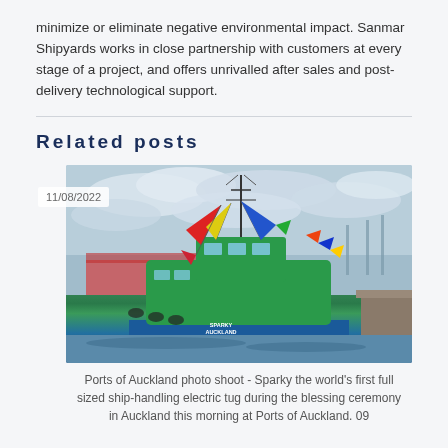minimize or eliminate negative environmental impact. Sanmar Shipyards works in close partnership with customers at every stage of a project, and offers unrivalled after sales and post-delivery technological support.
Related posts
[Figure (photo): A green and blue tugboat named 'Sparky Auckland' docked at a port, decorated with colorful signal flags, with cloudy sky and port facilities in the background.]
Ports of Auckland photo shoot - Sparky the world's first full sized ship-handling electric tug during the blessing ceremony in Auckland this morning at Ports of Auckland. 09